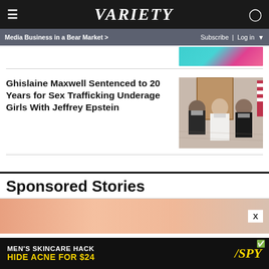VARIETY
Media Business in a Bear Market > | Subscribe | Log in
[Figure (illustration): Partial view of teal/pink theater seats image from a previous article]
Ghislaine Maxwell Sentenced to 20 Years for Sex Trafficking Underage Girls With Jeffrey Epstein
[Figure (illustration): Courtroom sketch of Ghislaine Maxwell with attendants wearing masks in court]
Sponsored Stories
[Figure (photo): Partial advertisement image with skin-toned background and an X close button]
[Figure (photo): Ad banner: MEN'S SKINCARE HACK HIDE ACNE FOR $24 / SPY logo]